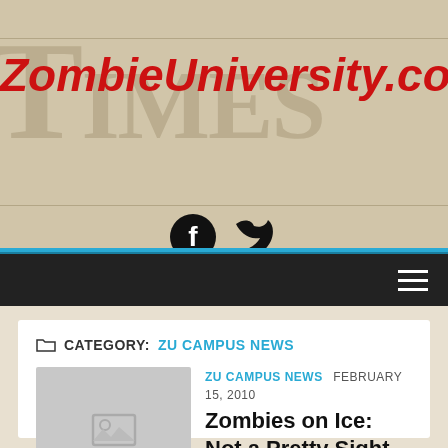ZombieUniversity.com
[Figure (illustration): Facebook and Twitter social media icons in dark/black color]
CATEGORY: ZU CAMPUS NEWS
ZU CAMPUS NEWS  FEBRUARY 15, 2010
Zombies on Ice: Not a Pretty Sight
Hockey has always been a dificult sport for our University.  After loosing 4 games in a row in which we managed to...